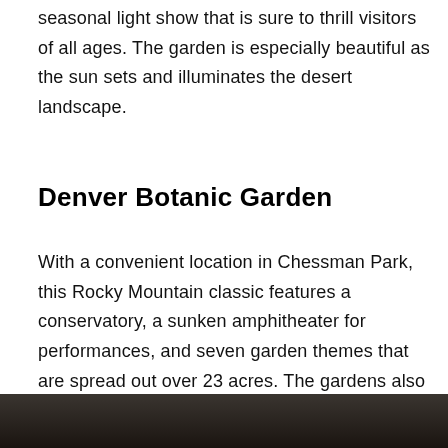seasonal light show that is sure to thrill visitors of all ages. The garden is especially beautiful as the sun sets and illuminates the desert landscape.
Denver Botanic Garden
With a convenient location in Chessman Park, this Rocky Mountain classic features a conservatory, a sunken amphitheater for performances, and seven garden themes that are spread out over 23 acres. The gardens also offer plenty of picnic tables, making it easy to enjoy a meal in this outdoor paradise. It comes as no surprise that this Mile High City garden features domestic plants that thrive at high altitudes.
[Figure (photo): Bottom strip of a photo showing a dark outdoor scene, partially visible at the bottom of the page.]